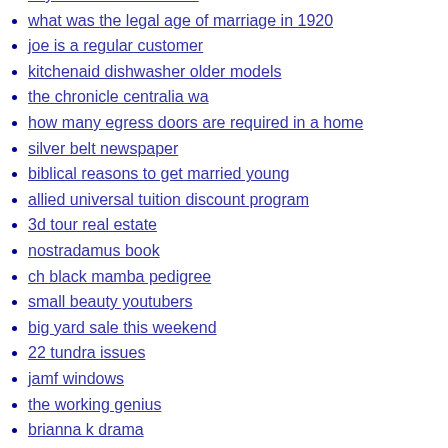la yarda latina clovis nm
what was the legal age of marriage in 1920
joe is a regular customer
kitchenaid dishwasher older models
the chronicle centralia wa
how many egress doors are required in a home
silver belt newspaper
biblical reasons to get married young
allied universal tuition discount program
3d tour real estate
nostradamus book
ch black mamba pedigree
small beauty youtubers
big yard sale this weekend
22 tundra issues
jamf windows
the working genius
brianna k drama
bakery nh
unifi protect log in
conti ransomware dump
ventura county fair rodeo
what is your dream as a woman
phoenix police cars
tree valley academy